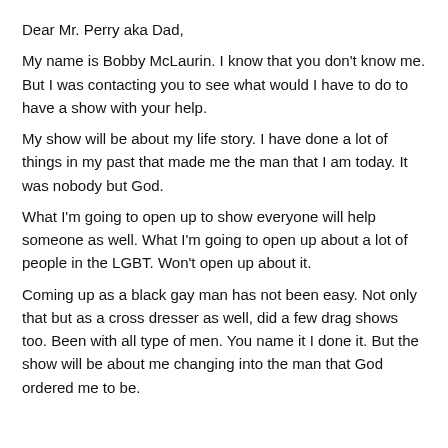Dear Mr. Perry aka Dad,
My name is Bobby McLaurin. I know that you don't know me. But I was contacting you to see what would I have to do to have a show with your help.
My show will be about my life story. I have done a lot of things in my past that made me the man that I am today. It was nobody but God.
What I'm going to open up to show everyone will help someone as well. What I'm going to open up about a lot of people in the LGBT. Won't open up about it.
Coming up as a black gay man has not been easy. Not only that but as a cross dresser as well, did a few drag shows too. Been with all type of men. You name it I done it. But the show will be about me changing into the man that God ordered me to be.